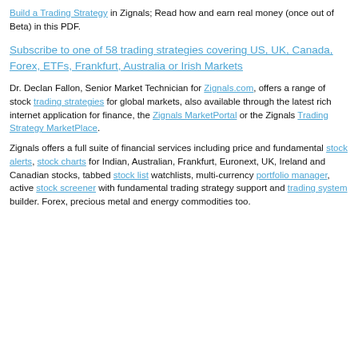Build a Trading Strategy in Zignals; Read how and earn real money (once out of Beta) in this PDF.
Subscribe to one of 58 trading strategies covering US, UK, Canada, Forex, ETFs, Frankfurt, Australia or Irish Markets
Dr. Declan Fallon, Senior Market Technician for Zignals.com, offers a range of stock trading strategies for global markets, also available through the latest rich internet application for finance, the Zignals MarketPortal or the Zignals Trading Strategy MarketPlace.
Zignals offers a full suite of financial services including price and fundamental stock alerts, stock charts for Indian, Australian, Frankfurt, Euronext, UK, Ireland and Canadian stocks, tabbed stock list watchlists, multi-currency portfolio manager, active stock screener with fundamental trading strategy support and trading system builder. Forex, precious metal and energy commodities too.